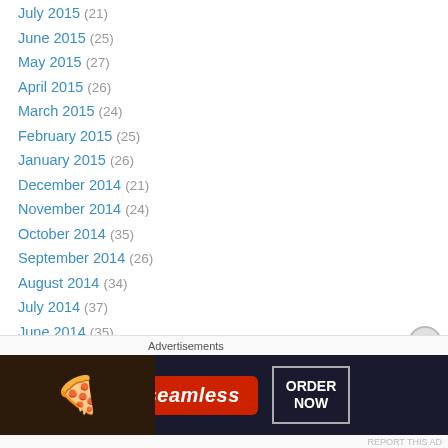July 2015 (21)
June 2015 (25)
May 2015 (27)
April 2015 (26)
March 2015 (24)
February 2015 (25)
January 2015 (26)
December 2014 (21)
November 2014 (24)
October 2014 (35)
September 2014 (26)
August 2014 (34)
July 2014 (37)
June 2014 (35)
May 2014 (34)
April 2014 (24)
March 2014 (42)
Advertisements
[Figure (photo): Seamless food delivery advertisement banner with pizza image and ORDER NOW button]